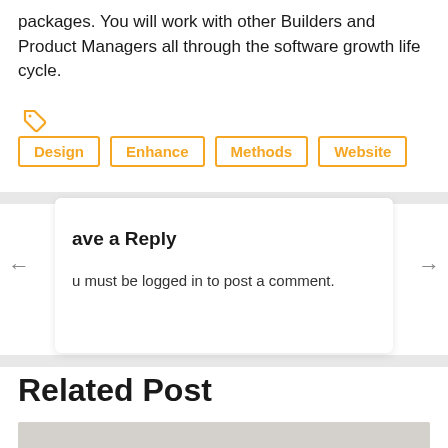packages. You will work with other Builders and Product Managers all through the software growth life cycle.
Design
Enhance
Methods
Website
Leave a Reply
You must be logged in to post a comment.
Related Post
[Figure (photo): Gray placeholder image for related post]